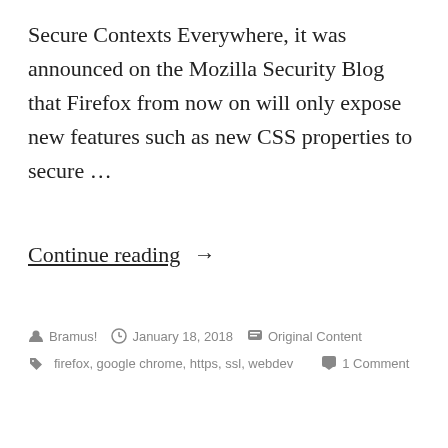Secure Contexts Everywhere, it was announced on the Mozilla Security Blog that Firefox from now on will only expose new features such as new CSS properties to secure …
Continue reading →
By Bramus! · January 18, 2018 · Original Content
firefox, google chrome, https, ssl, webdev · 1 Comment